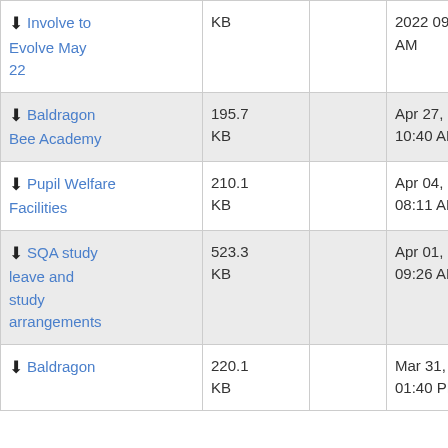| Name | Size |  | Date |
| --- | --- | --- | --- |
| ⬇ Involve to Evolve May 22 | KB |  | 2022 09:39 AM |
| ⬇ Baldragon Bee Academy | 195.7 KB |  | Apr 27, 2022 10:40 AM |
| ⬇ Pupil Welfare Facilities | 210.1 KB |  | Apr 04, 2022 08:11 AM |
| ⬇ SQA study leave and study arrangements | 523.3 KB |  | Apr 01, 2022 09:26 AM |
| ⬇ Baldragon | 220.1 KB |  | Mar 31, 2022 01:40 PM |